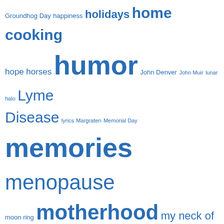[Figure (infographic): Tag cloud with various blog/website topic tags in blue, ranging in font size to indicate frequency/weight. Tags include: Groundhog Day, happiness, holidays, home cooking, hope, horses, humor, John Denver, John Muir, lunar halo, Lyme Disease, lyrics, Margraten, Memorial Day, memories, menopause, moon ring, motherhood, my neck of the woods, National Sneak Some Zucchini Onto Your Neighbor's Porch Day, nature, Netherlands American Cemetery, nor'easter, photography, pigs, poetry, postcards, Postcards from Quarantine, Punxsutawney Phil, Purple Heart, quotes, recipes, small town life, snow, song lyrics, spring, summer, sunrise-sunset, the old timer, up the road, tractors, weekly photo challenge, wildlife, winter, wordless wednesday]